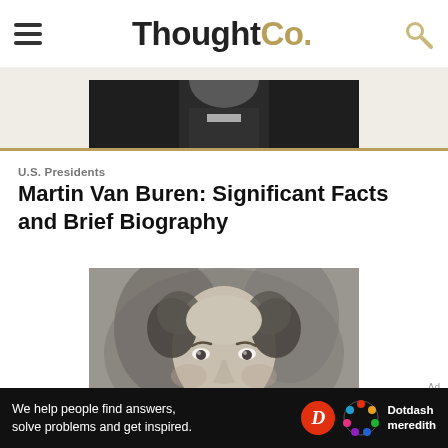ThoughtCo.
[Figure (photo): Partial view of a black and white portrait photo at the top of the page, cropped]
[Figure (photo): Black and white engraved portrait of Martin Van Buren, 8th US President, showing head and shoulders]
U.S. Presidents
Martin Van Buren: Significant Facts and Brief Biography
Ad
We help people find answers, solve problems and get inspired.
[Figure (logo): Dotdash Meredith logo with red D circle and colorful dots circle]